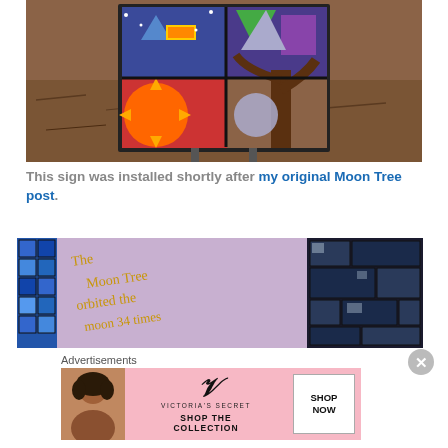[Figure (photo): Outdoor photo of a colorful mosaic sign on metal stakes, showing abstract art with sun, space, and nature elements. Background is dry brown ground with sparse vegetation.]
This sign was installed shortly after my original Moon Tree post.
[Figure (photo): Close-up photo of a purple/lavender mosaic tile sign with gold text reading 'The Moon Tree orbited the moon 34 times Apollo was']
Advertisements
[Figure (photo): Victoria's Secret advertisement banner: pink background with a woman's photo on the left, Victoria's Secret logo in center, 'SHOP THE COLLECTION' text, and a white 'SHOP NOW' button on the right.]